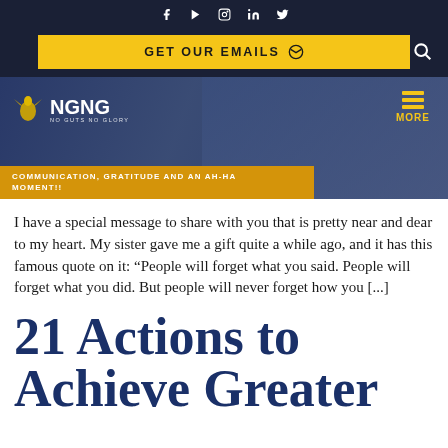[Figure (screenshot): Website header with dark navy background showing social media icons (Facebook, YouTube, Instagram, LinkedIn, Twitter)]
[Figure (screenshot): Yellow GET OUR EMAILS button with envelope icon and search icon on dark navy background]
[Figure (screenshot): NGNG (No Guts No Glory) website hero banner with logo, MORE menu icon, and golden bottom bar reading COMMUNICATION, GRATITUDE AND AN AH-HA MOMENT!!]
I have a special message to share with you that is pretty near and dear to my heart. My sister gave me a gift quite a while ago, and it has this famous quote on it: “People will forget what you said. People will forget what you did. But people will never forget how you [...]
21 Actions to Achieve Greater